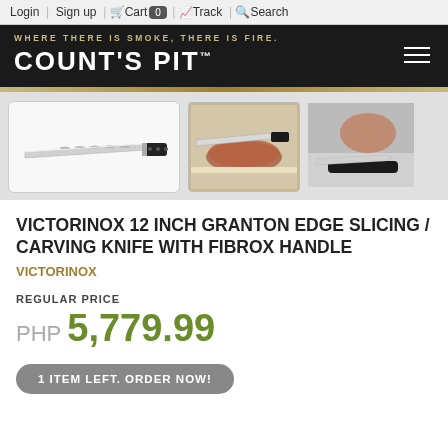Login | Sign up | Cart 0 | Track | Search
[Figure (logo): Count's Pit logo with tagline 'WHERE THERE IS SMOKE, THERE IS FIRE.' on black header bar with hamburger menu icon]
[Figure (photo): Three product images of a Victorinox 12 inch Granton Edge Slicing/Carving Knife with Fibrox Handle — one showing full knife, one showing knife with sliced meat, one close-up]
VICTORINOX 12 INCH GRANTON EDGE SLICING / CARVING KNIFE WITH FIBROX HANDLE
VICTORINOX
REGULAR PRICE
PHP 5,779.99
1 ITEM LEFT. ORDER NOW!